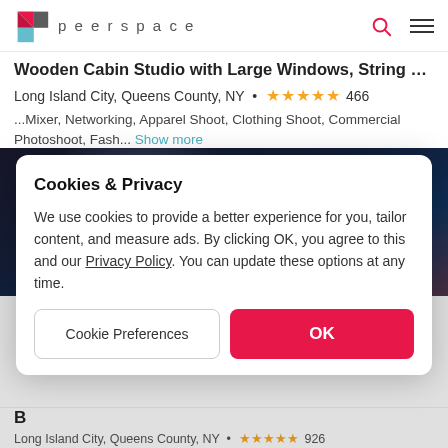peerspace
Wooden Cabin Studio with Large Windows, String Li...
Long Island City, Queens County, NY • ★★★★★ 466
...Mixer, Networking, Apparel Shoot, Clothing Shoot, Commercial Photoshoot, Fash... Show more
[Figure (photo): Dark studio interior background photo visible behind cookie consent modal]
Cookies & Privacy
We use cookies to provide a better experience for you, tailor content, and measure ads. By clicking OK, you agree to this and our Privacy Policy. You can update these options at any time.
[Cookie Preferences] [OK]
B
Long Island City, Queens County, NY • ★★★★★ 926